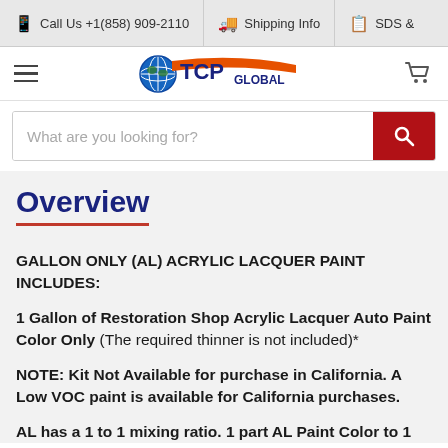📱 Call Us +1(858) 909-2110 | 🚚 Shipping Info | 📋 SDS &
[Figure (logo): TCP Global logo with globe icon and orange swoosh, hamburger menu on left, cart icon on right]
What are you looking for?
Overview
GALLON ONLY (AL) ACRYLIC LACQUER PAINT INCLUDES:
1 Gallon of Restoration Shop Acrylic Lacquer Auto Paint Color Only (The required thinner is not included)*
NOTE: Kit Not Available for purchase in California. A Low VOC paint is available for California purchases.
AL has a 1 to 1 mixing ratio. 1 part AL Paint Color to 1